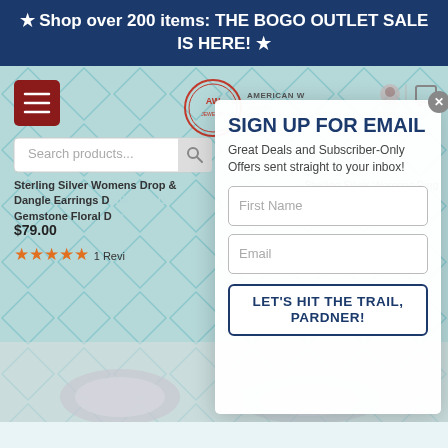★ Shop over 200 items: THE BOGO OUTLET SALE IS HERE! ★
[Figure (screenshot): American West Jewelry website background with teal diamond pattern, menu button, search bar, product listings, and user/cart icons]
Search products...
[Figure (logo): American West Jewelry logo with circular AW emblem and cursive script]
Sterling Silver Womens Drop & Dangle Earrings Denim Lapis Gemstone Floral Des
$79.00
★★★★★ 1 Revie
Sterling Silver Womens Ring Oval-shaped Denim Lapis
SIGN UP FOR EMAIL
Great Deals and Subscriber-Only Offers sent straight to your inbox!
First Name
Email
LET'S HIT THE TRAIL, PARDNER!
[Figure (photo): Silver jewelry pieces at the bottom of the page]